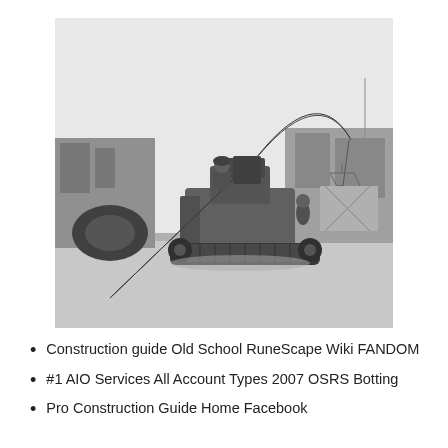[Figure (photo): Black and white photograph of a tracked construction vehicle (crawler crane/tractor) with a large boom/crane arm extended, lifting a heavy crate. A worker is seated on the machine. Industrial buildings visible in the background.]
Construction guide Old School RuneScape Wiki FANDOM
#1 AIO Services All Account Types 2007 OSRS Botting
Pro Construction Guide Home Facebook